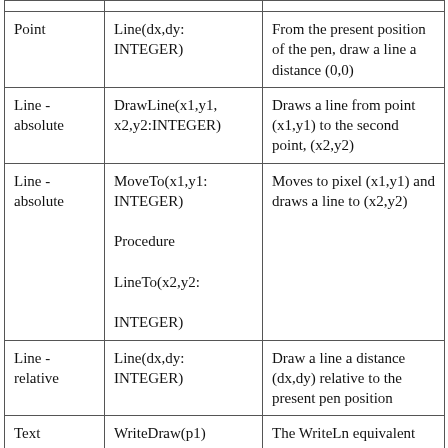|  |  |  |
| Point | Line(dx,dy: INTEGER) | From the present position of the pen, draw a line a distance (0,0) |
| Line - absolute | DrawLine(x1,y1, x2,y2:INTEGER) | Draws a line from point (x1,y1) to the second point, (x2,y2) |
| Line - absolute | MoveTo(x1,y1: INTEGER)
Procedure
LineTo(x2,y2: INTEGER) | Moves to pixel (x1,y1) and draws a line to (x2,y2) |
| Line - relative | Line(dx,dy: INTEGER) | Draw a line a distance (dx,dy) relative to the present pen position |
| Text | WriteDraw(p1) | The WriteLn equivalent procedure for the drawing window |